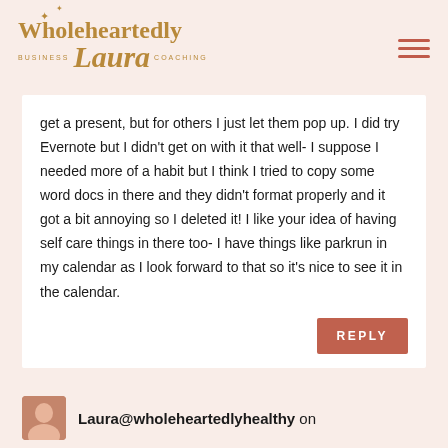Wholeheartedly Laura BUSINESS COACHING
get a present, but for others I just let them pop up. I did try Evernote but I didn't get on with it that well- I suppose I needed more of a habit but I think I tried to copy some word docs in there and they didn't format properly and it got a bit annoying so I deleted it! I like your idea of having self care things in there too- I have things like parkrun in my calendar as I look forward to that so it's nice to see it in the calendar.
REPLY
Laura@wholeheartedlyhealthy on